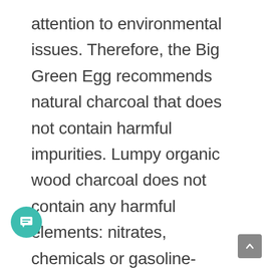attention to environmental issues. Therefore, the Big Green Egg recommends natural charcoal that does not contain harmful impurities. Lumpy organic wood charcoal does not contain any harmful elements: nitrates, chemicals or gasoline-based products. Natural organic coal not only burns well but also does not emit harmful substances into the atmosphere when used. Therefore, if you really care about the safety of the planet, then you will definitely like this natural product. The charcoal is made from 100% natural American oak. It is easy